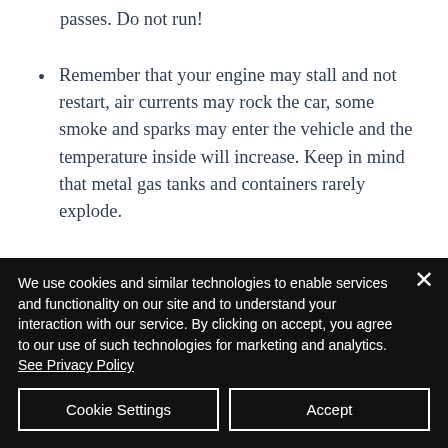passes. Do not run!
Remember that your engine may stall and not restart, air currents may rock the car, some smoke and sparks may enter the vehicle and the temperature inside will increase. Keep in mind that metal gas tanks and containers rarely explode.
If You Are Trapped at Home
If you find yourself trapped inside your
We use cookies and similar technologies to enable services and functionality on our site and to understand your interaction with our service. By clicking on accept, you agree to our use of such technologies for marketing and analytics. See Privacy Policy